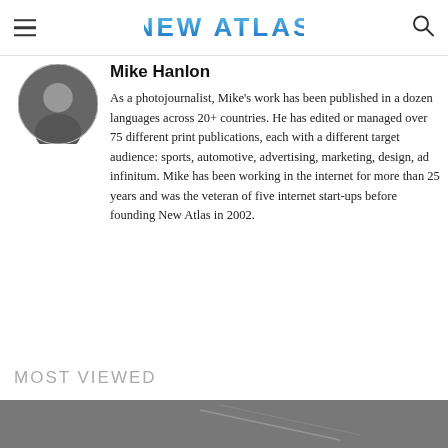NEW ATLAS
Mike Hanlon
As a photojournalist, Mike's work has been published in a dozen languages across 20+ countries. He has edited or managed over 75 different print publications, each with a different target audience: sports, automotive, advertising, marketing, design, ad infinitum. Mike has been working in the internet for more than 25 years and was the veteran of five internet start-ups before founding New Atlas in 2002.
MOST VIEWED
[Figure (photo): Dark atmospheric photo, appears to show aerial or aircraft subject against grey sky]